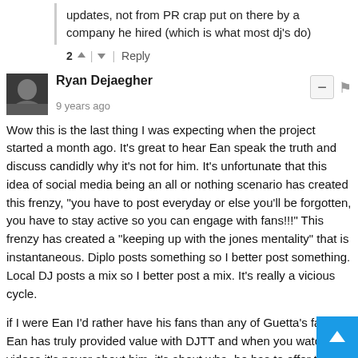updates, not from PR crap put on there by a company he hired (which is what most dj's do)
2  |  Reply
Ryan Dejaegher
9 years ago
Wow this is the last thing I was expecting when the project started a month ago. It's great to hear Ean speak the truth and discuss candidly why it's not for him. It's unfortunate that this idea of social media being an all or nothing scenario has created this frenzy, "you have to post everyday or else you'll be forgotten, you have to stay active so you can engage with fans!!!" This frenzy has created a "keeping up with the jones mentality" that is instantaneous. Diplo posts something so I better post something. Local DJ posts a mix so I better post a mix. It's really a vicious cycle.

if I were Ean I'd rather have his fans than any of Guetta's fans. Ean has truly provided value with DJTT and when you watch his videos it's never about him, it's about what he has to offer the community. And yes maybe he doesn't